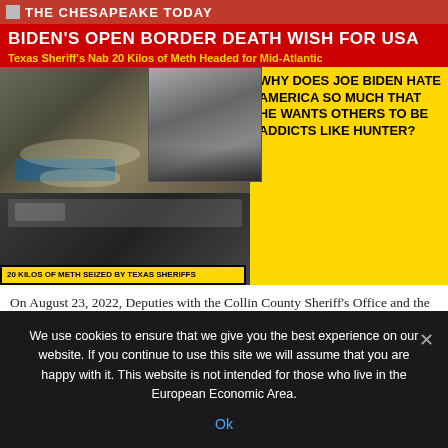THE CHESAPEAKE TODAY
BIDEN'S OPEN BORDER DEATH WISH FOR USA
Texas Sheriff's Nab 20 Kilos of Meth Headed for Mid-Atlantic
[Figure (photo): Composite image: left shows bags of seized meth drugs, center shows two men in suits (Biden and Hunter Biden), right yellow panel with bold text. Yellow caption bar: '20 KILOS OF METH SEIZED BY TEXAS SHERIFFS'. Right panel text: 'WHY DOES JOE BIDEN HATE AMERICA SO MUCH THAT HE WANTS OTHERS TO BE ADDICTS LIKE HUNTER?']
On August 23, 2022, Deputies with the Collin County Sheriff's Office and the North Texas Sheriff's Criminal Interdiction Unit
We use cookies to ensure that we give you the best experience on our website. If you continue to use this site we will assume that you are happy with it. This website is not intended for those who live in the European Economic Area.
Ok